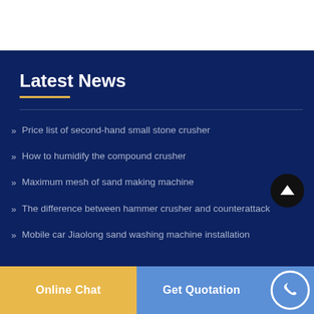Latest News
Price list of second-hand small stone crusher
How to humidify the compound crusher
Maximum mesh of sand making machine
The difference between hammer crusher and counterattack
Mobile car Jiaolong sand washing machine installation
Online Chat | Get Quotation